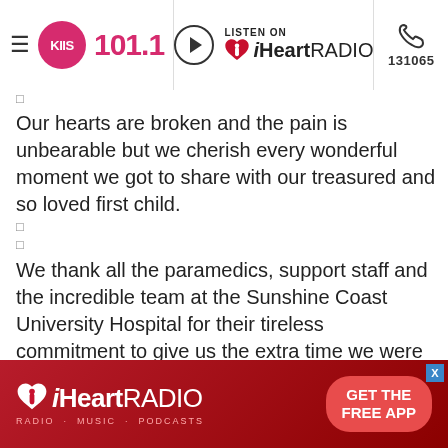KIIS 101.1 | Listen on iHeartRADIO | 131065
Our hearts are broken and the pain is unbearable but we cherish every wonderful moment we got to share with our treasured and so loved first child.
We thank all the paramedics, support staff and the incredible team at the Sunshine Coast University Hospital for their tireless commitment to give us the extra time we were able to spend with Jaimi.
It goes without saying that this is a very difficult time for our family and all who knew and loved Jaimi so very much.
Rest in peace my beautiful baby. I will miss you every sunrise, I will miss you when the sun is shining and the birds are singing. I will miss you when the clouds are dark and stormy and when the rainbow appears. I will miss you when I close
[Figure (other): iHeartRADIO advertisement banner — GET THE FREE APP]